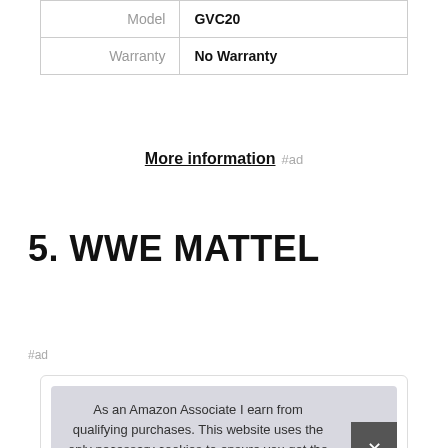|  |  |
| --- | --- |
| Model | GVC20 |
| Warranty | No Warranty |
More information #ad
5. WWE MATTEL
#ad
As an Amazon Associate I earn from qualifying purchases. This website uses the only necessary cookies to ensure you get the best experience on our website. More information